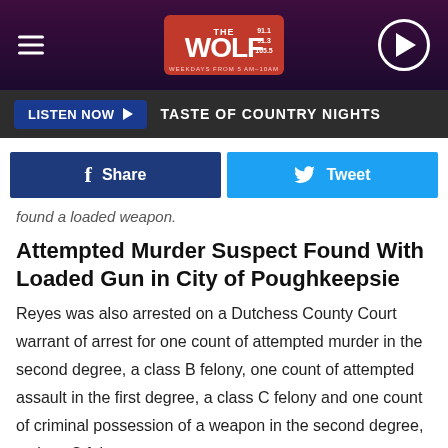[Figure (screenshot): The Wolf radio station top navigation bar with hamburger menu, Wolf 91.1/91.3/105.5 logo, and play button]
LISTEN NOW ▶  TASTE OF COUNTRY NIGHTS
[Figure (screenshot): Facebook Share button and Twitter Tweet button]
found a loaded weapon.
Attempted Murder Suspect Found With Loaded Gun in City of Poughkeepsie
Reyes was also arrested on a Dutchess County Court warrant of arrest for one count of attempted murder in the second degree, a class B felony, one count of attempted assault in the first degree, a class C felony and one count of criminal possession of a weapon in the second degree, a class C felony.
As a result of the stop, a loaded Smith and Wesson semi